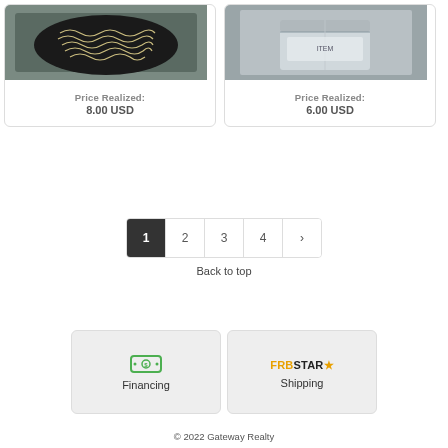[Figure (photo): Product photo showing noodles/food on a dark plate]
Price Realized: 8.00 USD
[Figure (photo): Product photo showing a box/packaged item]
Price Realized: 6.00 USD
1 2 3 4 >
Back to top
[Figure (infographic): Financing button with money bag icon]
[Figure (logo): FRBSTAR logo for Shipping button]
© 2022 Gateway Realty